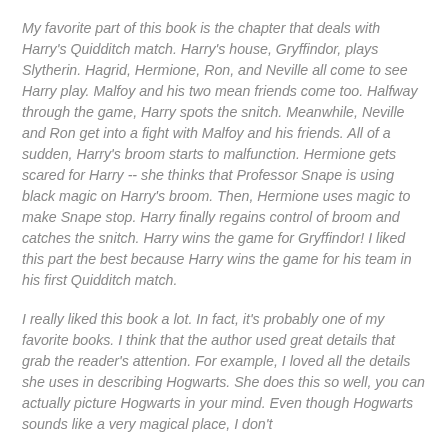My favorite part of this book is the chapter that deals with Harry's Quidditch match. Harry's house, Gryffindor, plays Slytherin. Hagrid, Hermione, Ron, and Neville all come to see Harry play. Malfoy and his two mean friends come too. Halfway through the game, Harry spots the snitch. Meanwhile, Neville and Ron get into a fight with Malfoy and his friends. All of a sudden, Harry's broom starts to malfunction. Hermione gets scared for Harry -- she thinks that Professor Snape is using black magic on Harry's broom. Then, Hermione uses magic to make Snape stop. Harry finally regains control of broom and catches the snitch. Harry wins the game for Gryffindor! I liked this part the best because Harry wins the game for his team in his first Quidditch match.
I really liked this book a lot. In fact, it's probably one of my favorite books. I think that the author used great details that grab the reader's attention. For example, I loved all the details she uses in describing Hogwarts. She does this so well, you can actually picture Hogwarts in your mind. Even though Hogwarts sounds like a very magical place, I don't